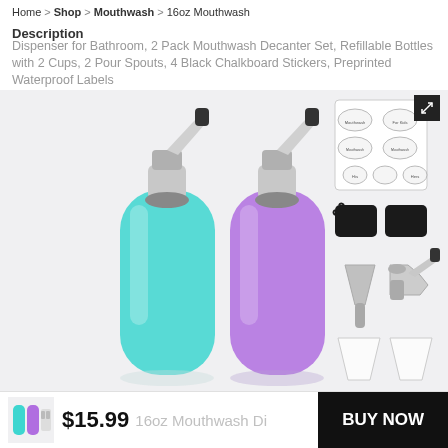Home > Shop > Mouthwash > 16oz Mouthwash
Description
Dispenser for Bathroom, 2 Pack Mouthwash Decanter Set Refillable Bottles with 2 Cups, 2 Pour Spouts, 4 Black Chalkboard Stickers, Preprinted Waterproof Labels
[Figure (photo): Product photo showing two glass dispenser bottles (one teal/cyan, one purple) with pourer spouts, alongside label stickers, black chalkboard tags, a funnel, a spare pourer, and two clear cups — all components of a 2-pack mouthwash decanter set.]
[Figure (photo): Small thumbnail of the product set at bottom left.]
$15.99
16oz Mouthwash Di
BUY NOW